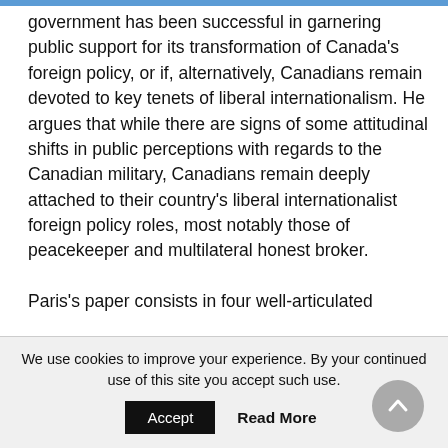government has been successful in garnering public support for its transformation of Canada's foreign policy, or if, alternatively, Canadians remain devoted to key tenets of liberal internationalism. He argues that while there are signs of some attitudinal shifts in public perceptions with regards to the Canadian military, Canadians remain deeply attached to their country's liberal internationalist foreign policy roles, most notably those of peacekeeper and multilateral honest broker.

Paris's paper consists in four well-articulated
We use cookies to improve your experience. By your continued use of this site you accept such use.